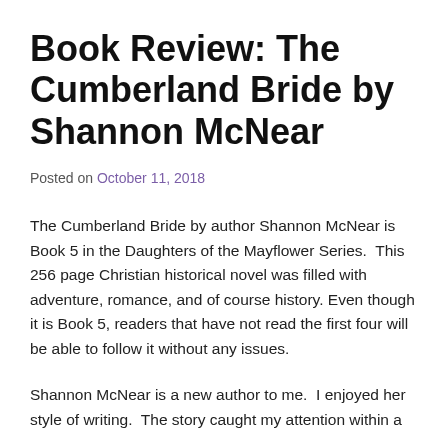Book Review: The Cumberland Bride by Shannon McNear
Posted on October 11, 2018
The Cumberland Bride by author Shannon McNear is Book 5 in the Daughters of the Mayflower Series.  This 256 page Christian historical novel was filled with adventure, romance, and of course history. Even though it is Book 5, readers that have not read the first four will be able to follow it without any issues.
Shannon McNear is a new author to me.  I enjoyed her style of writing.  The story caught my attention within a